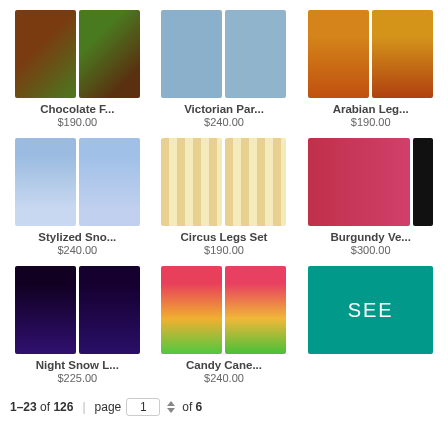[Figure (photo): Chocolate F... product thumbnail, two panels]
Chocolate F...
$190.00
[Figure (photo): Victorian Par... product thumbnail, two blue door panels]
Victorian Par...
$240.00
[Figure (photo): Arabian Leg... product thumbnail, two ornate panels]
Arabian Leg...
$190.00
[Figure (photo): Stylized Sno... product thumbnail, two snowy panels]
Stylized Sno...
$240.00
[Figure (photo): Circus Legs Set product thumbnail, two striped panels]
Circus Legs Set
$190.00
[Figure (photo): Burgundy Ve... product thumbnail, red curtain panel]
Burgundy Ve...
$300.00
[Figure (photo): Night Snow L... product thumbnail, two night scene panels]
Night Snow L...
$225.00
[Figure (photo): Candy Cane... product thumbnail, two candy panels]
Candy Cane...
$240.00
[Figure (other): SEE button teal green]
1–23 of 126 | page 1 of 6